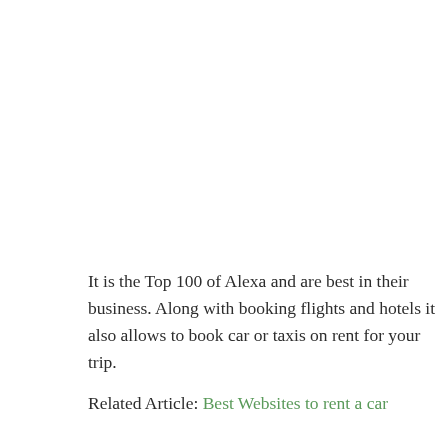It is the Top 100 of Alexa and are best in their business. Along with booking flights and hotels it also allows to book car or taxis on rent for your trip.
Related Article: Best Websites to rent a car